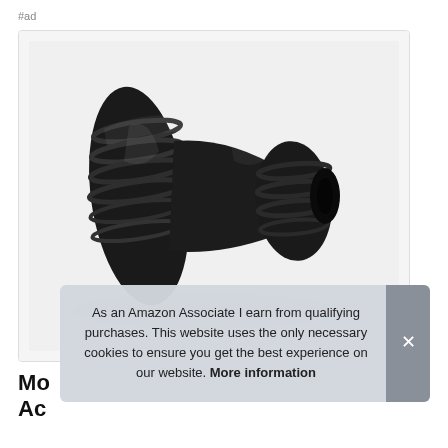#ad
[Figure (photo): A black plastic tap connector / hose fitting adapter shown at an angle, with threaded end on the left and quick-connect barbed nozzle on the right, on a white background.]
Mo
Ac
As an Amazon Associate I earn from qualifying purchases. This website uses the only necessary cookies to ensure you get the best experience on our website. More information